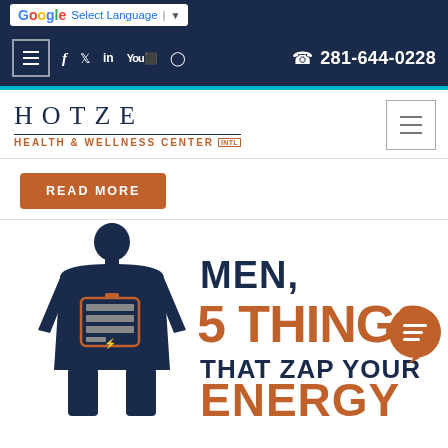Google Select Language
Menu  f  Twitter  in  YouTube  Instagram  281-644-0228
[Figure (logo): Hotze Health & Wellness Center INTL logo]
READ MORE
[Figure (infographic): Men, 5 Things That Zap Your Energy - infographic with male silhouette and battery icon]